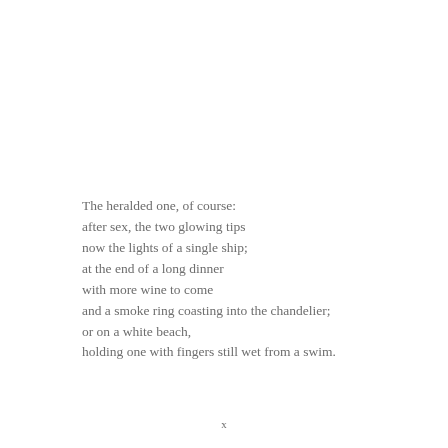The heralded one, of course:
after sex, the two glowing tips
now the lights of a single ship;
at the end of a long dinner
with more wine to come
and a smoke ring coasting into the chandelier;
or on a white beach,
holding one with fingers still wet from a swim.
x